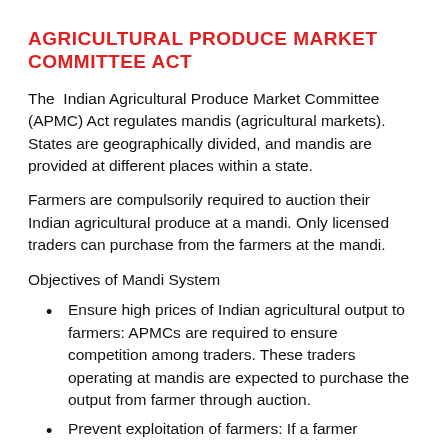AGRICULTURAL PRODUCE MARKET COMMITTEE ACT
The Indian Agricultural Produce Market Committee (APMC) Act regulates mandis (agricultural markets). States are geographically divided, and mandis are provided at different places within a state.
Farmers are compulsorily required to auction their Indian agricultural produce at a mandi. Only licensed traders can purchase from the farmers at the mandi.
Objectives of Mandi System
Ensure high prices of Indian agricultural output to farmers: APMCs are required to ensure competition among traders. These traders operating at mandis are expected to purchase the output from farmer through auction.
Prevent exploitation of farmers: If a farmer